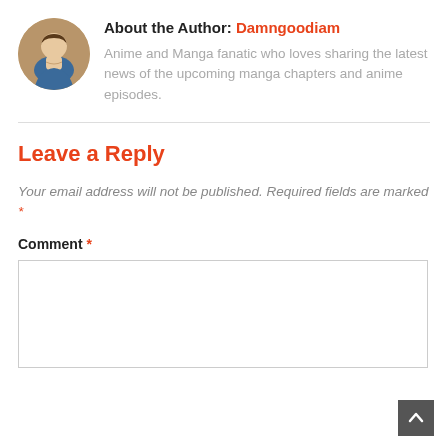About the Author: Damngoodiam
Anime and Manga fanatic who loves sharing the latest news of the upcoming manga chapters and anime episodes.
Leave a Reply
Your email address will not be published. Required fields are marked *
Comment *